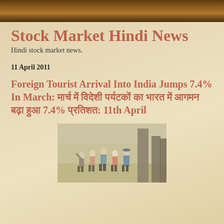Stock Market Hindi News
Hindi stock market news.
11 April 2011
Foreign Tourist Arrival Into India Jumps 7.4% In March: मार्च में विदेशी पर्यटकों का भारत में आगमन बढ़ा हुआ 7.4% प्रतिशत: 11th April
[Figure (photo): Group of tourists standing near large stone columns/pillars, likely at an ancient monument or temple site in India.]